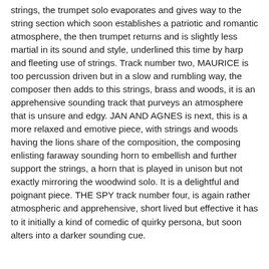strings, the trumpet solo evaporates and gives way to the string section which soon establishes a patriotic and romantic atmosphere, the then trumpet returns and is slightly less martial in its sound and style, underlined this time by harp and fleeting use of strings. Track number two, MAURICE is too percussion driven but in a slow and rumbling way, the composer then adds to this strings, brass and woods, it is an apprehensive sounding track that purveys an atmosphere that is unsure and edgy. JAN AND AGNES is next, this is a more relaxed and emotive piece, with strings and woods having the lions share of the composition, the composing enlisting faraway sounding horn to embellish and further support the strings, a horn that is played in unison but not exactly mirroring the woodwind solo. It is a delightful and poignant piece. THE SPY track number four, is again rather atmospheric and apprehensive, short lived but effective it has to it initially a kind of comedic of quirky persona, but soon alters into a darker sounding cue.